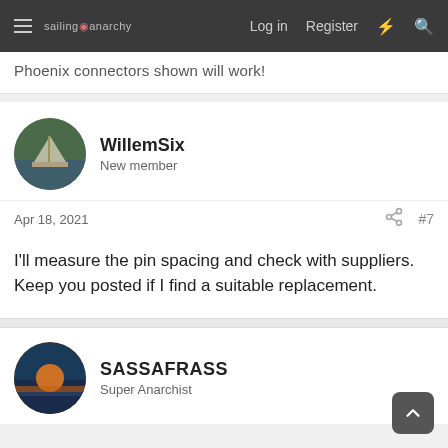sailing anarchy — Log in  Register
Phoenix connectors shown will work!
WillemSix
New member
Apr 18, 2021  #7
I'll measure the pin spacing and check with suppliers. Keep you posted if I find a suitable replacement.
SASSAFRASS
Super Anarchist